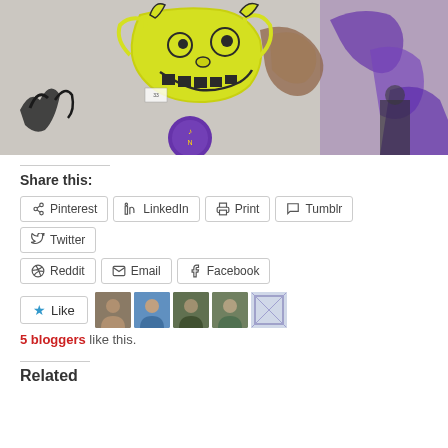[Figure (photo): Graffiti art on a wall featuring a yellow cartoon face with swirls and purple lettering/designs]
Share this:
Pinterest  LinkedIn  Print  Tumblr  Twitter  Reddit  Email  Facebook
Like  5 bloggers like this.
Related